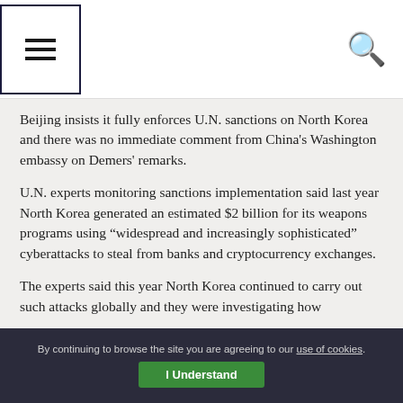[Navigation header with menu icon and search icon]
Beijing insists it fully enforces U.N. sanctions on North Korea and there was no immediate comment from China’s Washington embassy on Demers’ remarks.
U.N. experts monitoring sanctions implementation said last year North Korea generated an estimated $2 billion for its weapons programs using “widespread and increasingly sophisticated” cyberattacks to steal from banks and cryptocurrency exchanges.
The experts said this year North Korea continued to carry out such attacks globally and they were investigating how
By continuing to browse the site you are agreeing to our use of cookies. I Understand